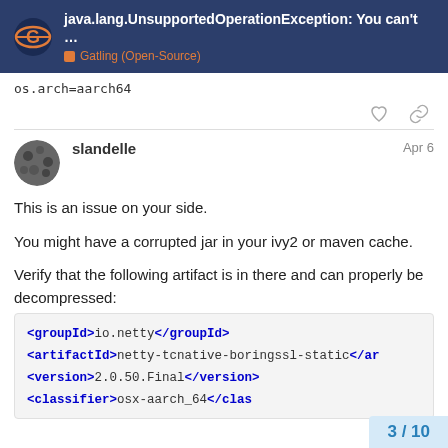java.lang.UnsupportedOperationException: You can't ... | Gatling (Open-Source)
os.arch=aarch64
slandelle  Apr 6
This is an issue on your side.
You might have a corrupted jar in your ivy2 or maven cache.
Verify that the following artifact is in there and can properly be decompressed:
<groupId>io.netty</groupId>
<artifactId>netty-tcnative-boringssl-static</artifactId>
<version>2.0.50.Final</version>
<classifier>osx-aarch_64</classifier>
3 / 10